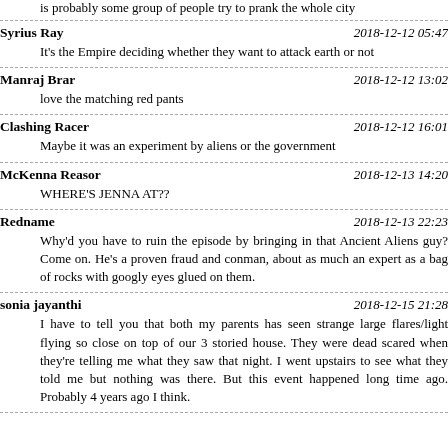is probably some group of people try to prank the whole city
Syrius Ray	2018-12-12 05:47
It's the Empire deciding whether they want to attack earth or not
Manraj Brar	2018-12-12 13:02
love the matching red pants
Clashing Racer	2018-12-12 16:01
Maybe it was an experiment by aliens or the government
McKenna Reasor	2018-12-13 14:20
WHERE'S JENNA AT??
Redname	2018-12-13 22:23
Why'd you have to ruin the episode by bringing in that Ancient Aliens guy? Come on. He's a proven fraud and conman, about as much an expert as a bag of rocks with googly eyes glued on them.
sonia jayanthi	2018-12-15 21:28
I have to tell you that both my parents has seen strange large flares/light flying so close on top of our 3 storied house. They were dead scared when they're telling me what they saw that night. I went upstairs to see what they told me but nothing was there. But this event happened long time ago. Probably 4 years ago I think.